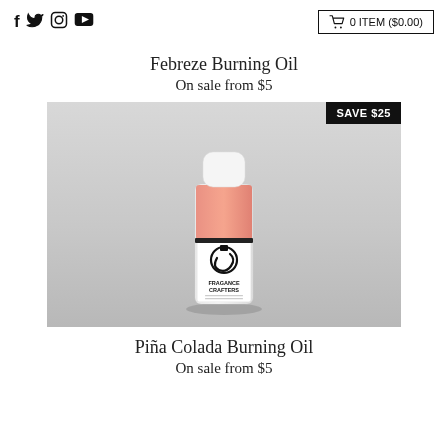f [twitter] [instagram] [youtube] | 0 ITEM ($0.00)
Febreze Burning Oil
On sale from $5
[Figure (photo): Small bottle of Fragance Crafters burning oil with pink/orange liquid, white cap, on grey background. 'SAVE $25' badge in top right corner.]
Piña Colada Burning Oil
On sale from $5